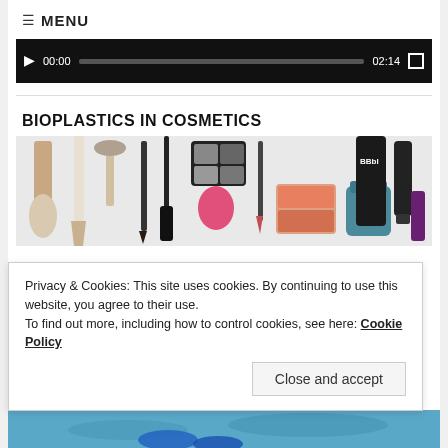≡ MENU
[Figure (screenshot): Video player bar showing play button, time 00:00, progress bar, duration 02:14, and fullscreen button on black background]
BIOPLASTICS IN COSMETICS
[Figure (photo): Various cosmetics products including brushes, pencils, eyeshadow palettes, BB cream, and makeup tools arranged on white background]
Privacy & Cookies: This site uses cookies. By continuing to use this website, you agree to their use.
To find out more, including how to control cookies, see here: Cookie Policy
Close and accept
TEXTILE, SHOES & SPORTS
[Figure (photo): Blue fins/flippers underwater photo]